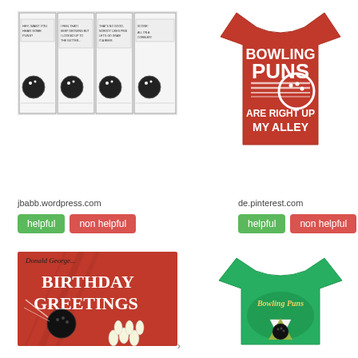[Figure (illustration): Comic strip about bowling puns, 4 panels with bowling ball characters]
[Figure (photo): Red t-shirt with text BOWLING PUNS ARE RIGHT UP MY ALLEY and bowling ball graphic]
jbabb.wordpress.com
de.pinterest.com
helpful
non helpful
helpful
non helpful
[Figure (photo): Vintage red birthday greetings card with bowling ball knocking pins, text reads Birthday Greetings]
[Figure (photo): Green t-shirt with Bowling Puns logo and bowling pins graphic]
›